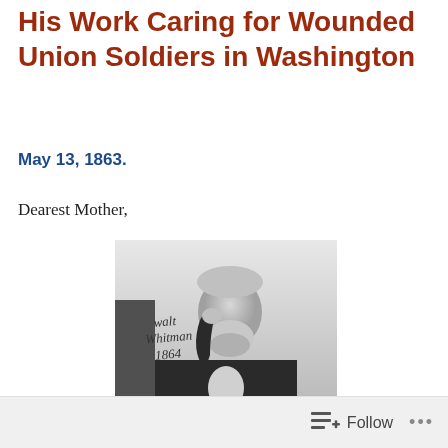His Work Caring for Wounded Union Soldiers in Washington
May 13, 1863.
Dearest Mother,
[Figure (photo): Black and white portrait photograph of Walt Whitman, seated, with curly gray hair and a full beard, wearing a dark coat. The image is signed in handwriting 'Walt Whitman 1864'.]
Follow ...